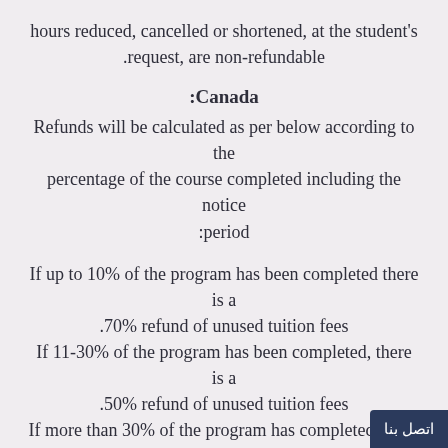hours reduced, cancelled or shortened, at the student's request, are non-refundable.
Canada:
Refunds will be calculated as per below according to the percentage of the course completed including the notice period:
If up to 10% of the program has been completed there is a 70% refund of unused tuition fees.
If 11-30% of the program has been completed, there is a 50% refund of unused tuition fees.
If more than 30% of the program has completed, there is no refund on unused tuition fees.
Refund Due Dates (all schools):
For students cancelling before arrival, refunds will be made within 45 days of the first scheduled day of c